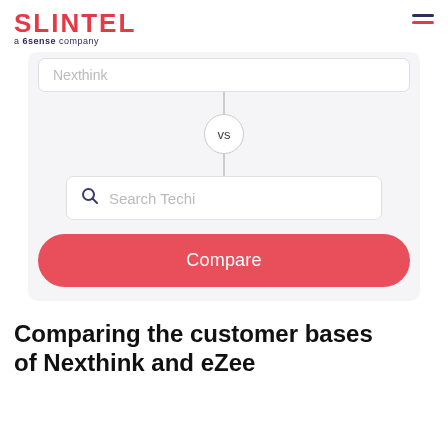SLINTEL a 6sense company
[Figure (screenshot): A comparison widget showing a search interface with a top box labeled 'Nexthink', a 'vs' circle in the middle connected by lines, a 'Search Techn...' search input below, and a red 'Compare' button at the bottom. The widget has a light gray background.]
Comparing the customer bases of Nexthink and eZee...